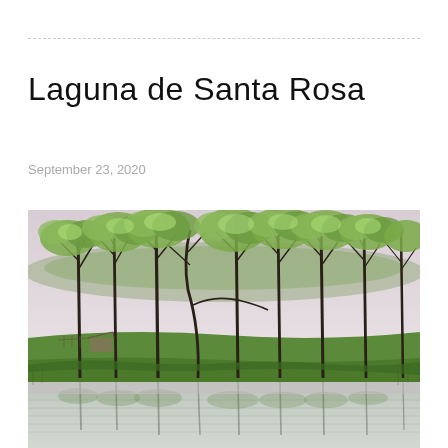Laguna de Santa Rosa
September 23, 2020
[Figure (illustration): Painting of Laguna de Santa Rosa showing a row of tall bare-branched trees with green foliage at the tops, standing behind a grassy bank. In the foreground is a still lake or lagoon reflecting the trees and overcast sky. The overall palette is muted greens, grays, and whites.]